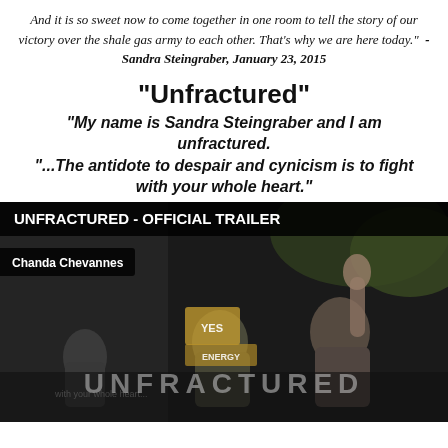And it is so sweet now to come together in one room to tell the story of our victory over the shale gas army to each other. That's why we are here today." -Sandra Steingraber, January 23, 2015
"Unfractured" "My name is Sandra Steingraber and I am unfractured. "...The antidote to despair and cynicism is to fight with your whole heart."
[Figure (screenshot): Video thumbnail for 'UNFRACTURED - OFFICIAL TRAILER' by Chanda Chevannes. Shows a protest scene with people, signs including 'YES ENERGY', and the word UNFRACTURED watermarked across the bottom. Dark overlay bars at top show the title and channel name.]